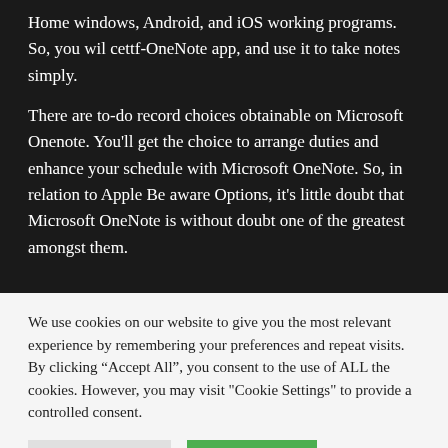Home windows, Android, and iOS working programs. So, you wil get the OneNote app, and use it to take notes simply.
There are to-do record choices obtainable on Microsoft Onenote. You'll get the choice to arrange duties and enhance your schedule with Microsoft OneNote. So, in relation to Apple Be aware Options, it's little doubt that Microsoft OneNote is without doubt one of the greatest amongst them.
We use cookies on our website to give you the most relevant experience by remembering your preferences and repeat visits. By clicking "Accept All", you consent to the use of ALL the cookies. However, you may visit "Cookie Settings" to provide a controlled consent.